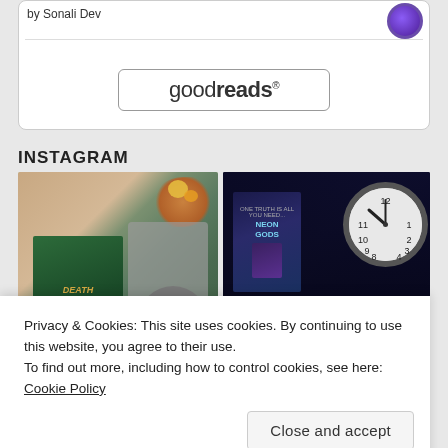by Sonali Dev
[Figure (logo): Goodreads logo button with rounded rectangle border]
INSTAGRAM
[Figure (photo): Instagram photo showing Death at the Manor book cover with autumn leaves and black hat]
[Figure (photo): Instagram photo showing Neon Gods book cover with a clock on black background]
Privacy & Cookies: This site uses cookies. By continuing to use this website, you agree to their use.
To find out more, including how to control cookies, see here: Cookie Policy
Close and accept
[Figure (photo): Bottom strip showing partial Instagram photos including golden, blue and dark colored images with 17 DAYS STREAK badge]